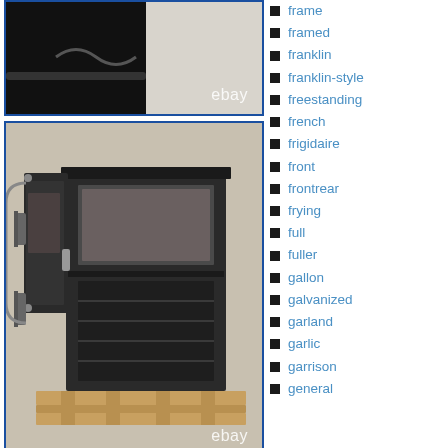[Figure (photo): Top portion of a dark/black appliance or stove with eBay watermark]
[Figure (photo): Wood burning stove with open door showing oven interior with shelves, sitting on a wooden pallet, with eBay watermark]
[Figure (photo): Bottom partial photo of another stove or appliance]
frame
framed
franklin
franklin-style
freestanding
french
frigidaire
front
frontrear
frying
full
fuller
gallon
galvanized
garland
garlic
garrison
general